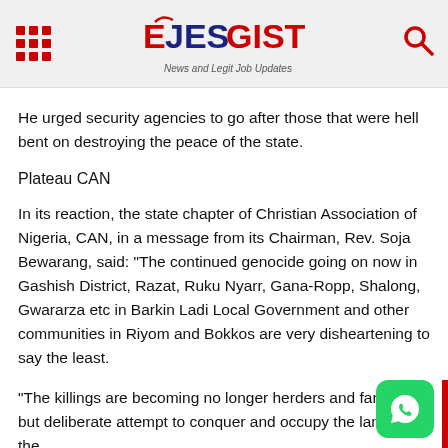EJESGIST — News and Legit Job Updates
He urged security agencies to go after those that were hell bent on destroying the peace of the state.
Plateau CAN
In its reaction, the state chapter of Christian Association of Nigeria, CAN, in a message from its Chairman, Rev. Soja Bewarang, said: "The continued genocide going on now in Gashish District, Razat, Ruku Nyarr, Gana-Ropp, Shalong, Gwararza etc in Barkin Ladi Local Government and other communities in Riyom and Bokkos are very disheartening to say the least.
"The killings are becoming no longer herders and farmers but deliberate attempt to conquer and occupy the land of the